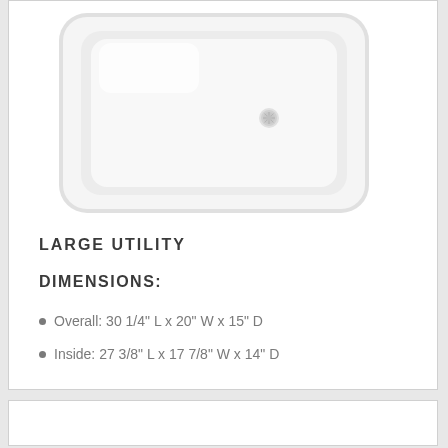[Figure (photo): Top-down view of a white large utility single-basin undermount kitchen sink with rounded corners and a drain opening visible on the right side of the basin.]
LARGE UTILITY
DIMENSIONS:
Overall: 30 1/4" L x 20" W x 15" D
Inside: 27 3/8" L x 17 7/8" W x 14" D